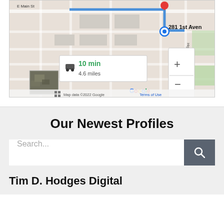[Figure (map): Google Maps screenshot showing a route. Destination marker at 281 1st Ave. Duration: 10 min, 4.6 miles. Street labels include E Main St and Higley Rd. Map data ©2022 Google. Terms of Use shown. Zoom +/- controls visible. Small satellite thumbnail in lower left corner.]
Our Newest Profiles
Search...
Tim D. Hodges Digital